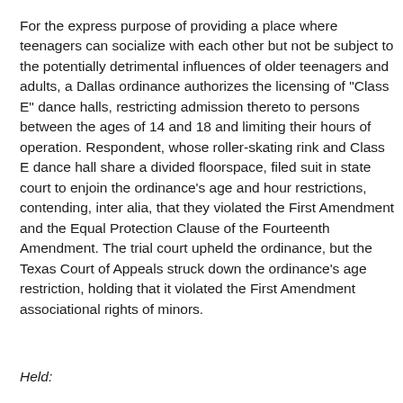For the express purpose of providing a place where teenagers can socialize with each other but not be subject to the potentially detrimental influences of older teenagers and adults, a Dallas ordinance authorizes the licensing of "Class E" dance halls, restricting admission thereto to persons between the ages of 14 and 18 and limiting their hours of operation. Respondent, whose roller-skating rink and Class E dance hall share a divided floorspace, filed suit in state court to enjoin the ordinance's age and hour restrictions, contending, inter alia, that they violated the First Amendment and the Equal Protection Clause of the Fourteenth Amendment. The trial court upheld the ordinance, but the Texas Court of Appeals struck down the ordinance's age restriction, holding that it violated the First Amendment associational rights of minors.
Held: